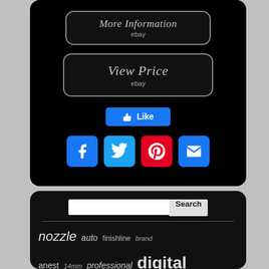[Figure (screenshot): Black rounded panel with 'More Information / ebay' button, 'View Price / ebay' button, a Facebook Like button, and social media icons (Facebook, Twitter, Pinterest, Email) on a black background]
[Figure (screenshot): Black rounded panel with a search bar and Search button, a horizontal divider, and a tag cloud with words: nozzle, auto, finishline, brand, anest, 14mm, professional, digital, spray, system, limited, mini, cups, guns, painting, iwata, 13mm]